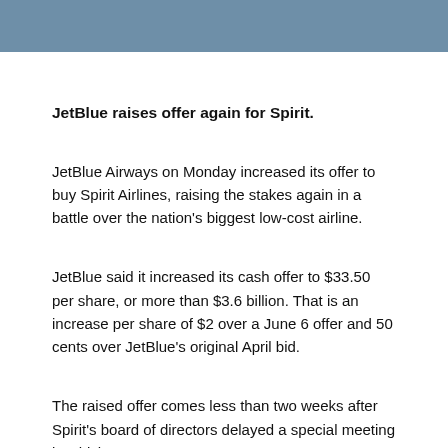JetBlue raises offer again for Spirit.
JetBlue Airways on Monday increased its offer to buy Spirit Airlines, raising the stakes again in a battle over the nation's biggest low-cost airline.
JetBlue said it increased its cash offer to $33.50 per share, or more than $3.6 billion. That is an increase per share of $2 over a June 6 offer and 50 cents over JetBlue's original April bid.
The raised offer comes less than two weeks after Spirit's board of directors delayed a special meeting in which